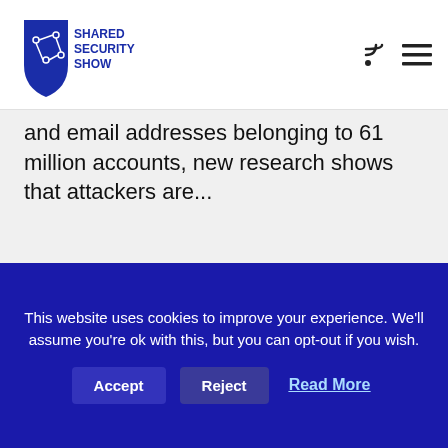[Figure (logo): Shared Security Show logo: blue shield with circuit lines and text 'SHARED SECURITY SHOW']
and email addresses belonging to 61 million accounts, new research shows that attackers are...
PLAY EPISODE
[Figure (screenshot): Episode 236 thumbnail showing Shared Security Show logo and host photo on dark background with 'EPISODE 236' text]
This website uses cookies to improve your experience. We'll assume you're ok with this, but you can opt-out if you wish. Accept Reject Read More